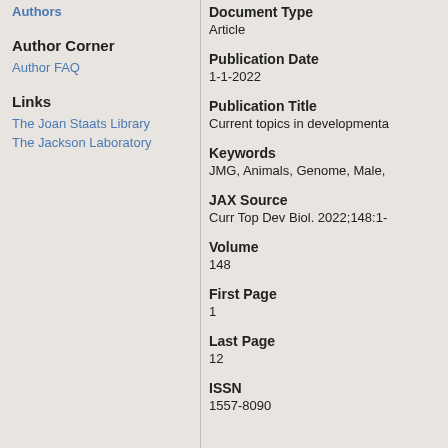Authors
Author Corner
Author FAQ
Links
The Joan Staats Library
The Jackson Laboratory
Document Type
Article
Publication Date
1-1-2022
Publication Title
Current topics in developmenta
Keywords
JMG, Animals, Genome, Male,
JAX Source
Curr Top Dev Biol. 2022;148:1-
Volume
148
First Page
1
Last Page
12
ISSN
1557-8090